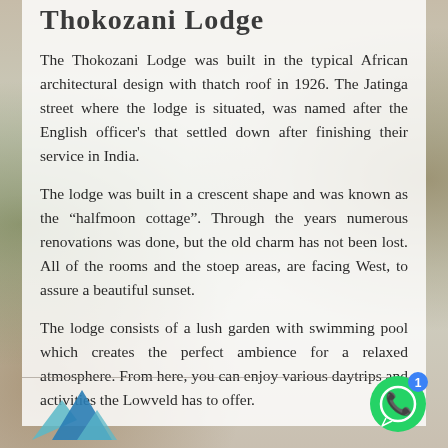Thokozani Lodge
The Thokozani Lodge was built in the typical African architectural design with thatch roof in 1926. The Jatinga street where the lodge is situated, was named after the English officer's that settled down after finishing their service in India.
The lodge was built in a crescent shape and was known as the "halfmoon cottage". Through the years numerous renovations was done, but the old charm has not been lost. All of the rooms and the stoep areas, are facing West, to assure a beautiful sunset.
The lodge consists of a lush garden with swimming pool which creates the perfect ambience for a relaxed atmosphere. From here, you can enjoy various daytrips and activities the Lowveld has to offer.
[Figure (logo): WhatsApp chat button with notification badge showing '1']
[Figure (logo): Decorative checkmark/mountain logo in blue and teal at bottom left]